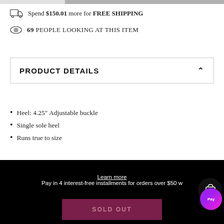Spend $150.01 more for FREE SHIPPING
69 PEOPLE LOOKING AT THIS ITEM
PRODUCT DETAILS
Heel: 4.25" Adjustable buckle
Single sole heel
Runs true to size
Pay in 4 interest-free installments for orders over $50 w...
Learn more
SOLD OUT